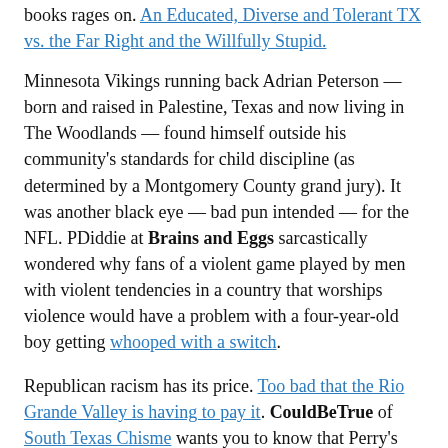books rages on. An Educated, Diverse and Tolerant TX vs. the Far Right and the Willfully Stupid.
Minnesota Vikings running back Adrian Peterson — born and raised in Palestine, Texas and now living in The Woodlands — found himself outside his community's standards for child discipline (as determined by a Montgomery County grand jury). It was another black eye — bad pun intended — for the NFL. PDiddie at Brains and Eggs sarcastically wondered why fans of a violent game played by men with violent tendencies in a country that worships violence would have a problem with a four-year-old boy getting whooped with a switch.
Republican racism has its price. Too bad that the Rio Grande Valley is having to pay it. CouldBeTrue of South Texas Chisme wants you to know that Perry's deployment of the Texas National Guard is not just a racist stunt to boast Perry's batshit crazy bonafides.